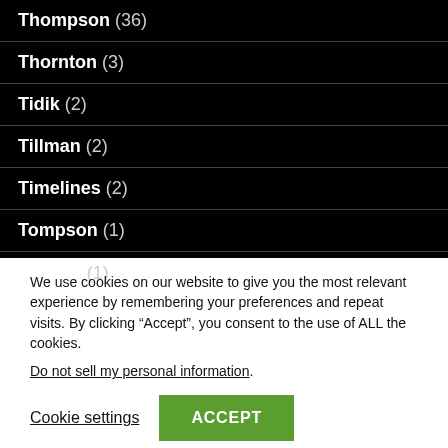Thompson (36)
Thornton (3)
Tidik (2)
Tillman (2)
Timelines (2)
Tompson (1)
Tongue (1)
We use cookies on our website to give you the most relevant experience by remembering your preferences and repeat visits. By clicking “Accept”, you consent to the use of ALL the cookies.
Do not sell my personal information.
Cookie settings   ACCEPT